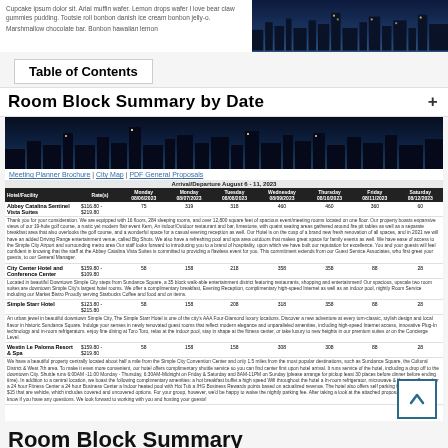Cupcake ipsum dolor sit. Arial muffin wafer. Lemon drops wafer I love bear claw gummies pudding. Tootsie roll bonbon danish ice cream bonbon jelly-o. Marshmallow chocolate bar. Bonbon hawaiian lemon
[Figure (photo): Night city skyline photo]
Table of Contents
Room Block Summary by Date
[Figure (photo): Night city skyline photo second]
Meeting Planner Brochure | City Map | PDF General Proposals
| Hotel/Facility | Rate(s) | Monday 08/06/2023 | Monday 08/07/2023 | Tuesday 08/08/2023 | Wednesday 08/09/2023 | Thursday 08/10/2023 | Friday 08/11/2023 | Saturday 08/12/2023 |
| --- | --- | --- | --- | --- | --- | --- | --- | --- |
| Abbey Catalina Sentinel Vista Suites | $116.80 - $219.80 | 75 | 319 | 318 | 460 | 460 | 360 | 60 |
| City Center Hotel and Conference Center | $159.80 - $109.80 | 58 | 158 | 218 | 358 | 358 | 88 | 28 |
| Simple Starr Hotel | $123.80 - $215.80 | 58 | 158 | 208 | 318 | 358 | 88 | 28 |
| Westin Le Paloma Resort & Spa | $159.80 - $219.80 | 58 | 158 | 158 | 308 | 308 | 88 | 28 |
Room Block Summary